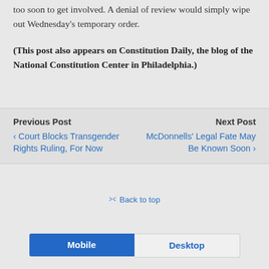too soon to get involved. A denial of review would simply wipe out Wednesday's temporary order.
(This post also appears on Constitution Daily, the blog of the National Constitution Center in Philadelphia.)
Previous Post
‹ Court Blocks Transgender Rights Ruling, For Now
Next Post
McDonnells' Legal Fate May Be Known Soon ›
⇑ Back to top
Mobile   Desktop